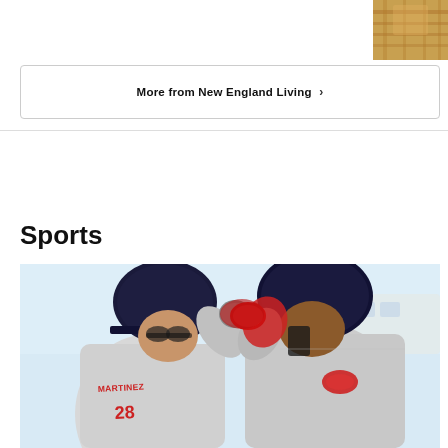[Figure (photo): Partial photo visible at top right corner, appears to show an indoor scene with orange/warm tones]
More from New England Living ›
Sports
[Figure (photo): Two Boston Red Sox baseball players in gray away uniforms doing a fist bump celebration. The player on the left wears number 28 with MARTINEZ on the jersey. Both wear navy blue batting helmets. The player on the right wears red batting gloves.]